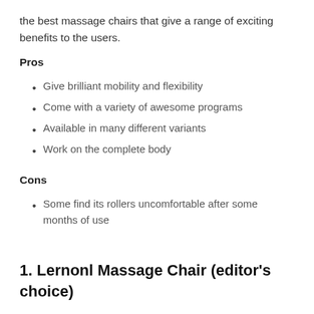the best massage chairs that give a range of exciting benefits to the users.
Pros
Give brilliant mobility and flexibility
Come with a variety of awesome programs
Available in many different variants
Work on the complete body
Cons
Some find its rollers uncomfortable after some months of use
1. Lernonl Massage Chair (editor's choice)